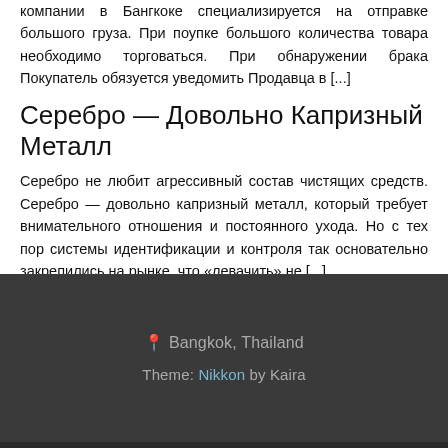компании в Бангкоке специализируется на отправке большого груза. При поупке большого количества товара необходимо торговаться. При обнаружении брака Покупатель обязуется уведомить Продавца в [...]
Серебро — Довольно Капризный Металл
Серебро не любит агрессивный состав чистящих средств. Серебро — довольно капризный металл, который требует внимательного отношения и постоянного ухода. Но с тех пор системы идентификации и контроля так основательно закрепились на рынке, что «левачить» не [...]
📍 Bangkok, Thailand
Theme: Nikkon by Kaira